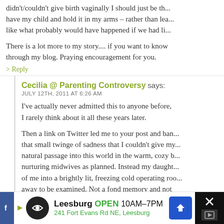didn't/couldn't give birth vaginally I should just be th... have my child and hold it in my arms – rather than lea... like what probably would have happened if we had li...
There is a lot more to my story.... if you want to know through my blog. Praying encouragement for you.
> Reply
Cecilia @ Parenting Controversy says: JULY 12TH, 2011 AT 6:26 AM
I've actually never admitted this to anyone before, I rarely think about it all these years later.
Then a link on Twitter led me to your post and ban... that small twinge of sadness that I couldn't give my... natural passage into this world in the warm, cozy b... nurturing midwives as planned. Instead my daught... of me into a brightly lit, freezing cold operating roo... away to be examined. Not a fond memory and not I'd ever want to journal about.
[Figure (screenshot): Advertisement banner: Leesburg, OPEN 10AM-7PM, 241 Fort Evans Rd NE, Leesburg]